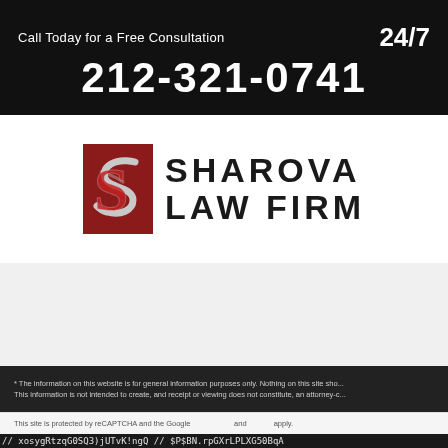Call Today for a Free Consultation  24/7
212-321-0741
[Figure (logo): Sharova Law Firm logo with stylized S emblem in dark red and firm name in bold black capitals]
* The information on this website is for general information purposes only. Nothing on this site sho... This information is not intended to create, and receipt or viewing does not constitute, an attorney-c...
This site is protected by reCAPTCHA and the Google and apply.
// xosygRtzqG0SQ3)jUTvK!ngQ // $P$BN.rpGXrLPLXG50BqA